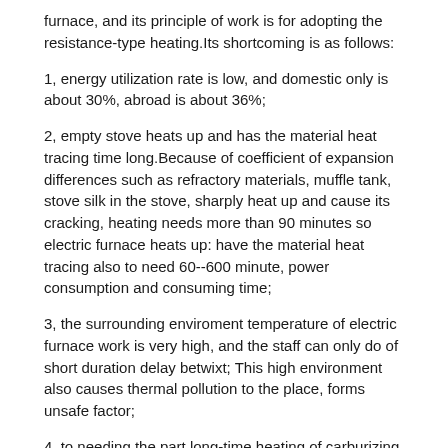furnace, and its principle of work is for adopting the resistance-type heating.Its shortcoming is as follows:
1, energy utilization rate is low, and domestic only is about 30%, abroad is about 36%;
2, empty stove heats up and has the material heat tracing time long.Because of coefficient of expansion differences such as refractory materials, muffle tank, stove silk in the stove, sharply heat up and cause its cracking, heating needs more than 90 minutes so electric furnace heats up: have the material heat tracing also to need 60--600 minute, power consumption and consuming time;
3, the surrounding enviroment temperature of electric furnace work is very high, and the staff can only do of short duration delay betwixt; This high environment also causes thermal pollution to the place, forms unsafe factor;
4, to needing the part long-time heating of carburizing, cause the part decarburization, then part just needs the carburizing of longer time, just can reach the carburizing requirement, causes inefficiency;